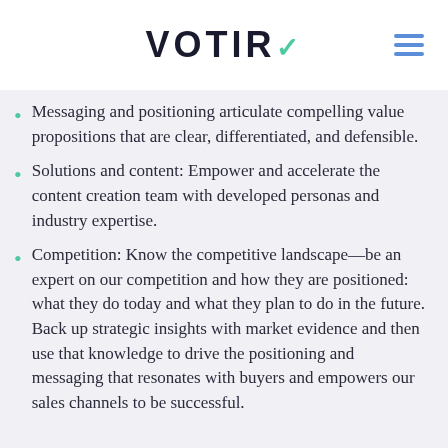VOTIRO
Messaging and positioning articulate compelling value propositions that are clear, differentiated, and defensible.
Solutions and content: Empower and accelerate the content creation team with developed personas and industry expertise.
Competition: Know the competitive landscape—be an expert on our competition and how they are positioned: what they do today and what they plan to do in the future. Back up strategic insights with market evidence and then use that knowledge to drive the positioning and messaging that resonates with buyers and empowers our sales channels to be successful.